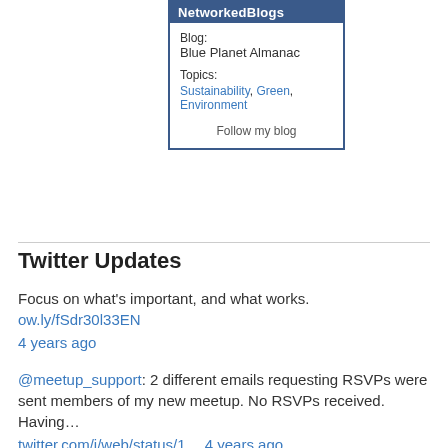[Figure (other): NetworkedBlogs widget showing Blog: Blue Planet Almanac, Topics: Sustainability, Green, Environment, with Follow my blog link]
Twitter Updates
Focus on what's important, and what works. ow.ly/fSdr30l33EN
4 years ago
@meetup_support: 2 different emails requesting RSVPs were sent members of my new meetup. No RSVPs received. Having…
twitter.com/i/web/status/1… 4 years ago
Whole Foods & Amazon start to suck *lots* more. Whole Foods wants to renege on its promise to label GMOs. This is a…
twitter.com/i/web/status/1… 4 years ago